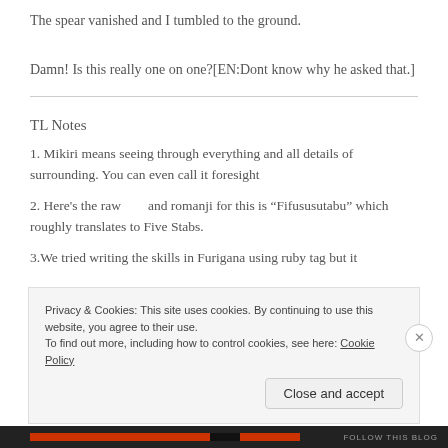The spear vanished and I tumbled to the ground.
Damn! Is this really one on one?[EN:Dont know why he asked that.]
TL Notes
1. Mikiri means seeing through everything and all details of surrounding. You can even call it foresight
2. Here's the raw      and romanji for this is “Fifususutabu” which roughly translates to Five Stabs.
3.We tried writing the skills in Furigana using ruby tag but it
Privacy & Cookies: This site uses cookies. By continuing to use this website, you agree to their use.
To find out more, including how to control cookies, see here: Cookie Policy
Close and accept